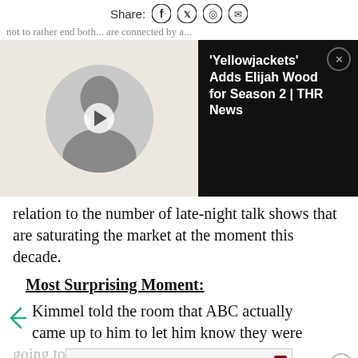Share: [facebook] [twitter] [whatsapp] [email]
...not to rather end both... ...are connected by a...
[Figure (screenshot): Video thumbnail showing a black-and-white portrait of a man in a circle with a play button, next to a dark popup: 'Yellowjackets' Adds Elijah Wood for Season 2 | THR News with a close button]
relation to the number of late-night talk shows that are saturating the market at the moment this decade.
Most Surprising Moment:
Kimmel told the room that ABC actually came up to him to let him know they were going to approach Conan to replace him in 2004...
said he was only approached by FOX.
[Figure (screenshot): MAC cosmetics advertisement banner showing lipsticks and SHOP NOW button]